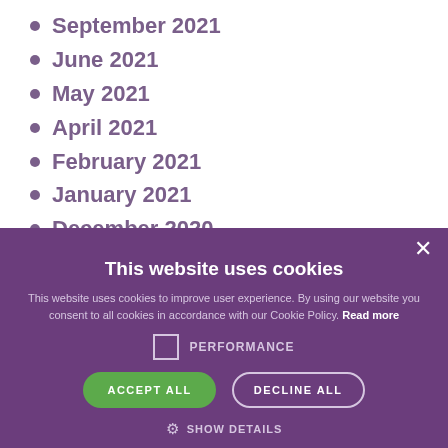September 2021
June 2021
May 2021
April 2021
February 2021
January 2021
December 2020
November 2020
October 2020
This website uses cookies
This website uses cookies to improve user experience. By using our website you consent to all cookies in accordance with our Cookie Policy. Read more
PERFORMANCE
ACCEPT ALL
DECLINE ALL
SHOW DETAILS